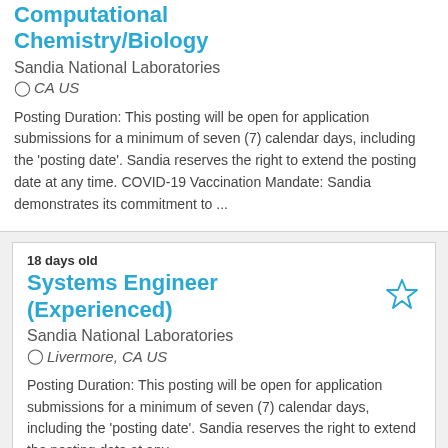Computational Chemistry/Biology
Sandia National Laboratories
CA US
Posting Duration: This posting will be open for application submissions for a minimum of seven (7) calendar days, including the 'posting date'. Sandia reserves the right to extend the posting date at any time. COVID-19 Vaccination Mandate: Sandia demonstrates its commitment to ...
18 days old
Systems Engineer (Experienced)
Sandia National Laboratories
Livermore, CA US
Posting Duration: This posting will be open for application submissions for a minimum of seven (7) calendar days, including the 'posting date'. Sandia reserves the right to extend the posting date at any